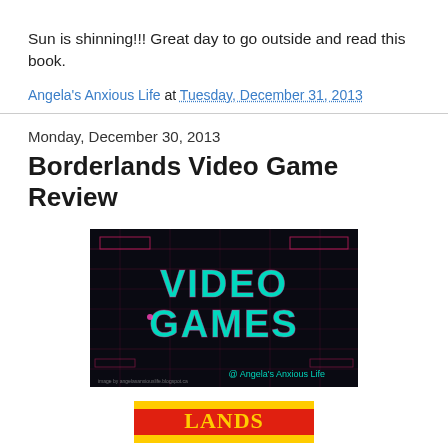Sun is shinning!!!  Great day to go outside and read this book.
Angela's Anxious Life at Tuesday, December 31, 2013
Monday, December 30, 2013
Borderlands Video Game Review
[Figure (illustration): Dark banner image with neon text reading 'VIDEO GAMES' with pink/cyan glitch-style lettering and '@Angela's Anxious Life' text at bottom right]
[Figure (illustration): Partially visible colorful image at the bottom of the page, appears to be a game logo or banner]